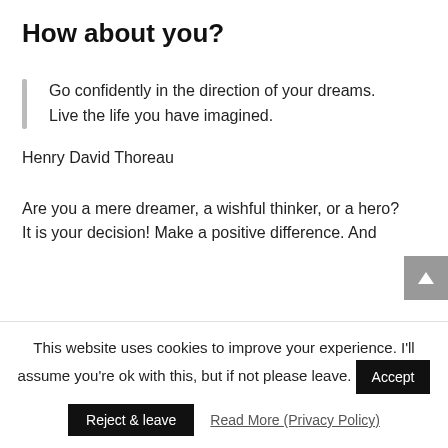How about you?
Go confidently in the direction of your dreams. Live the life you have imagined.
Henry David Thoreau
Are you a mere dreamer, a wishful thinker, or a hero? It is your decision! Make a positive difference. And
This website uses cookies to improve your experience. I'll assume you're ok with this, but if not please leave.
Reject & leave   Read More (Privacy Policy)   Accept